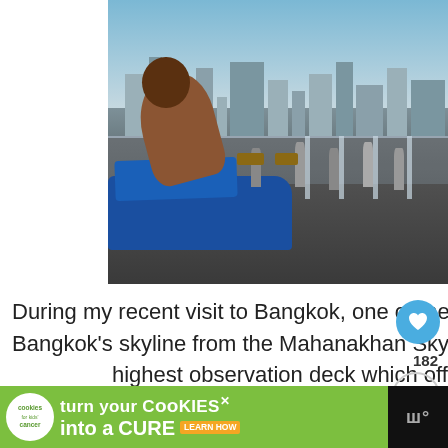[Figure (photo): Photo of rooftop observation deck in Bangkok (Mahanakhan Skywalk) with tourists, blue loungers in foreground, glass railing, and city skyline panorama in background]
During my recent visit to Bangkok, one of the highlights for me was checking out Bangkok's skyline from the Mahanakhan Skywalk.  At 314 metres this is Tha highest observation deck which offers
[Figure (infographic): Heart/like button (teal circle with heart icon), count 182, and share button below]
[Figure (infographic): WHAT'S NEXT panel with thumbnail image and text '37 Awesome Things to do...']
[Figure (infographic): Advertisement banner: cookies for kids cancer - turn your cookies into a CURE LEARN HOW]